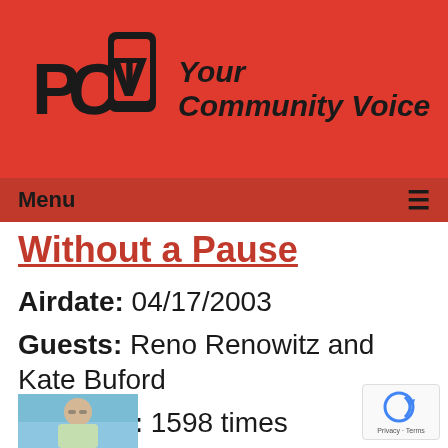[Figure (logo): PCTV logo with TV screen icon and tagline 'Your Community Voice' on red background]
Menu ☰
Without a Pause
Airdate: 04/17/2003
Guests: Reno Renowitz and Kate Buford
Watched: 1598 times
[Figure (photo): Elderly man with glasses sitting in a TV studio, wearing a light-colored shirt]